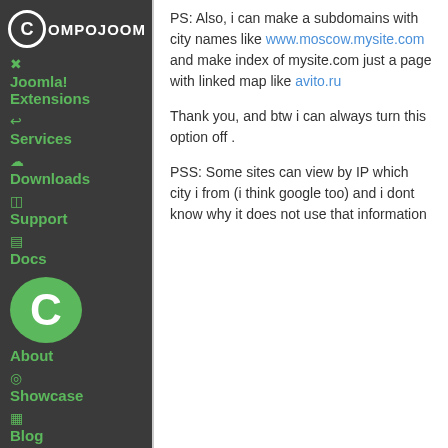[Figure (logo): Compojoom logo with circular C icon and white text on dark background]
Joomla! Extensions
Services
Downloads
Support
Docs
[Figure (logo): Large green circle with white C letter]
About
Showcase
Blog
PS: Also, i can make a subdomains with city names like www.moscow.mysite.com and make index of mysite.com just a page with linked map like avito.ru
Thank you, and btw i can always turn this option off .
PSS: Some sites can view by IP which city i from (i think google too) and i dont know why it does not use that information